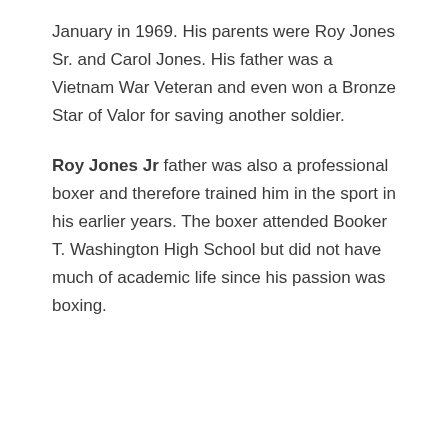January in 1969. His parents were Roy Jones Sr. and Carol Jones. His father was a Vietnam War Veteran and even won a Bronze Star of Valor for saving another soldier.
Roy Jones Jr father was also a professional boxer and therefore trained him in the sport in his earlier years. The boxer attended Booker T. Washington High School but did not have much of academic life since his passion was boxing.